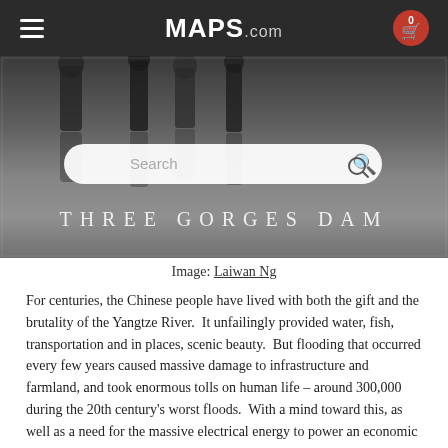MAPS.com
[Figure (photo): Hero image showing silhouettes of people reflected on a wet surface, with 'THREE GORGES DAM' text overlay and a search bar]
Image: Laiwan Ng
For centuries, the Chinese people have lived with both the gift and the brutality of the Yangtze River.  It unfailingly provided water, fish, transportation and in places, scenic beauty.  But flooding that occurred every few years caused massive damage to infrastructure and farmland, and took enormous tolls on human life – around 300,000 during the 20th century's worst floods.  With a mind toward this, as well as a need for the massive electrical energy to power an economic resurgence, China devised a way to tame the Yangtze.  In a narrow part of its course, where it would drown three famous gorges, a massive dam would rise – Three Gorges Dam.  Along with those gorges,